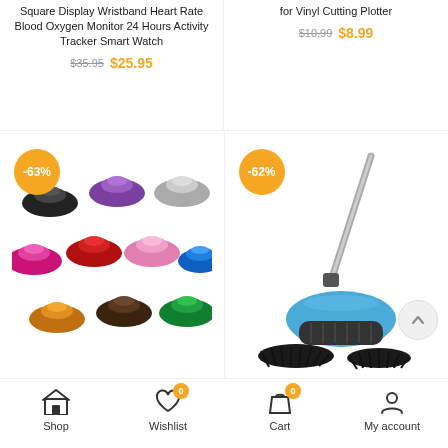Square Display Wristband Heart Rate Blood Oxygen Monitor 24 Hours Activity Tracker Smart Watch
$35.95  $25.95
for Vinyl Cutting Plotter
$10.99  $8.99
[Figure (photo): Multiple aluminum joystick mushroom cap analogs in various colors (black, purple, silver, pink, red, light pink, blue, orange, dark brown, green) with -63% discount badge]
[Figure (photo): Blue hand push magic broom with sweeper brushes and long handle, with -62% discount badge]
Universal Joystick Aluminum Alloy Mushroom Cap Analog
Hand Push Magic Broom Dustpan
Shop   Wishlist 0   Cart 0   My account